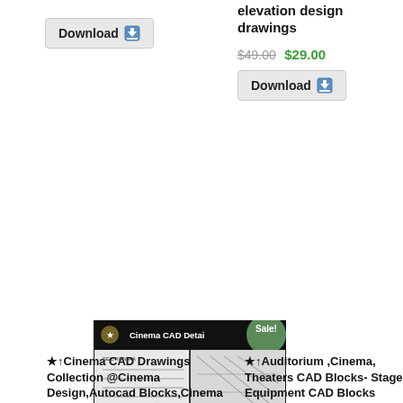elevation design drawings
$49.00 $29.00
[Figure (other): Download button (top right)]
[Figure (other): Download button (top left)]
[Figure (illustration): Cinema CAD Details product image with Sale! badge showing architectural drawings of cinema sections, plans, and interior]
★↑Cinema CAD Drawings Collection  @Cinema Design,Autocad Blocks,Cinema Details,Cinema
[Figure (illustration): Theatres, Cinemas, Auditorium Stage equipment CAD Blocks product image with Sale! badge showing CAD block drawings of stage equipment]
★↑Auditorium ,Cinema, Theaters CAD Blocks- Stage Equipment CAD Blocks  @Cinema Design,Autocad